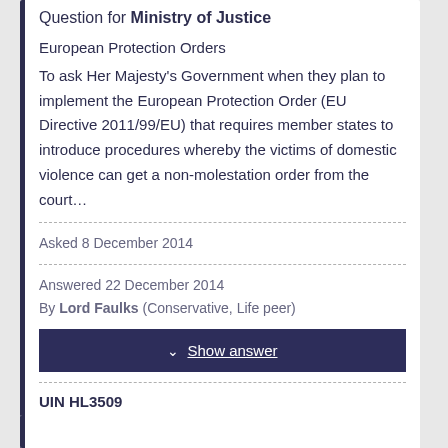Question for Ministry of Justice
European Protection Orders
To ask Her Majesty’s Government when they plan to implement the European Protection Order (EU Directive 2011/99/EU) that requires member states to introduce procedures whereby the victims of domestic violence can get a non-molestation order from the court…
Asked 8 December 2014
Answered 22 December 2014
By Lord Faulks (Conservative, Life peer)
↓ Show answer
UIN HL3509
Answered
Lords